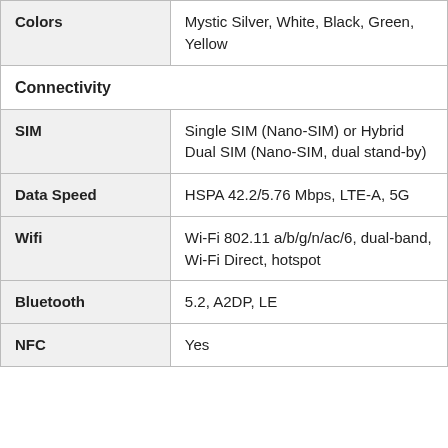| Feature | Value |
| --- | --- |
| Colors | Mystic Silver, White, Black, Green, Yellow |
| Connectivity |  |
| SIM | Single SIM (Nano-SIM) or Hybrid Dual SIM (Nano-SIM, dual stand-by) |
| Data Speed | HSPA 42.2/5.76 Mbps, LTE-A, 5G |
| Wifi | Wi-Fi 802.11 a/b/g/n/ac/6, dual-band, Wi-Fi Direct, hotspot |
| Bluetooth | 5.2, A2DP, LE |
| NFC | Yes |